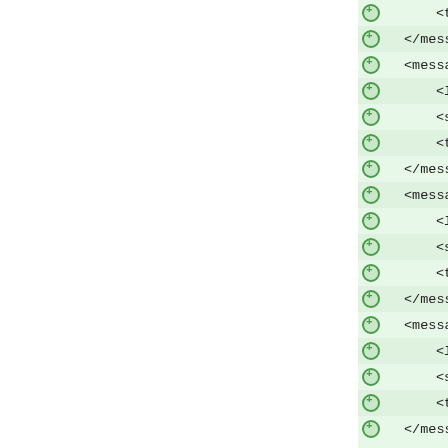[Figure (screenshot): XML code editor view showing a diff/tree view of XML translation file with message elements. Each line has a green circle plus icon indicator. Lines alternate light green backgrounds. Content shows XML tags for translation messages including location, source, and translation elements with type='unfinished'. Sources include 'Set Column Widths...', 'Distribute Rows Evenly', 'Distribute Columns Ev...', 'Adjust Frame to Table'.]